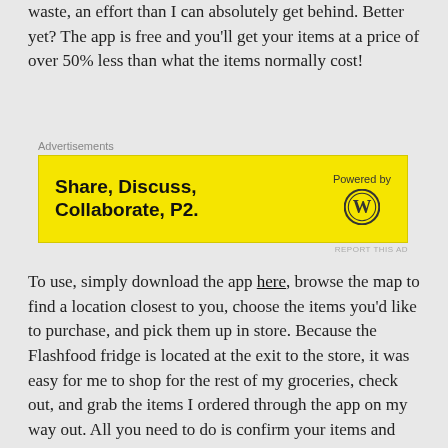waste, an effort than I can absolutely get behind. Better yet? The app is free and you'll get your items at a price of over 50% less than what the items normally cost!
[Figure (infographic): Yellow advertisement banner: 'Share, Discuss, Collaborate, P2.' with WordPress logo and 'Powered by' text. Below it says 'REPORT THIS AD']
To use, simply download the app here, browse the map to find a location closest to you, choose the items you'd like to purchase, and pick them up in store. Because the Flashfood fridge is located at the exit to the store, it was easy for me to shop for the rest of my groceries, check out, and grab the items I ordered through the app on my way out. All you need to do is confirm your items and
[Figure (infographic): Dark gray advertisement banner: 'Discover new reads on the go.' with 'GET THE APP' and WordPress logo. Below says 'REPORT THIS AD']